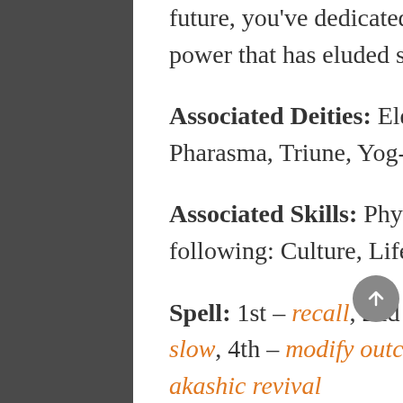future, you've dedicated your energy to harnessing the power that has eluded so many throughout time.
Associated Deities: Eldest(Shyka), Eloritu, Oras, Pharasma, Triune, Yog-Sothoth
Associated Skills: Physical Science, Choose 1 of the following: Culture, Life Science, or Mysticism
Spell: 1st – recall, 2nd – augury, 3rd – Choose 1: haste or slow, 4th – modify outcome, 5th – retrocognition, 6th – akashic revival
Forewarned (Su) – 1st Level